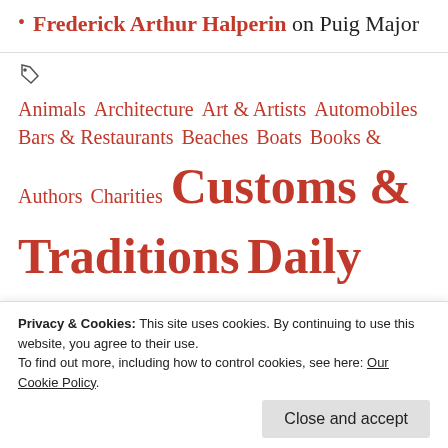Frederick Arthur Halperin on Puig Major
[Figure (other): Tag/label icon]
Animals  Architecture  Art & Artists  Automobiles  Bars & Restaurants  Beaches  Boats  Books & Authors  Charities  Customs & Traditions  Daily Life  Ecology  Events  Fairs & Markets  Farming  Felanity  Fiestas &
Privacy & Cookies: This site uses cookies. By continuing to use this website, you agree to their use. To find out more, including how to control cookies, see here: Our Cookie Policy.
Close and accept
Mallorca